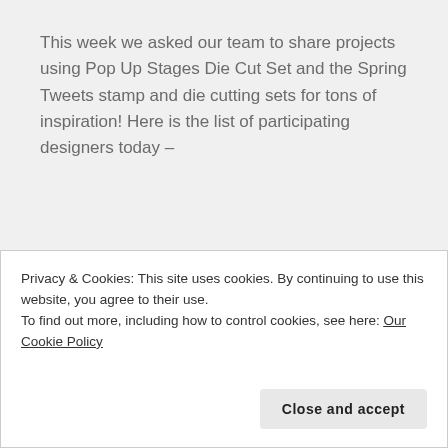This week we asked our team to share projects using Pop Up Stages Die Cut Set and the Spring Tweets stamp and die cutting sets for tons of inspiration! Here is the list of participating designers today –
| Monday |
| Stampendous Blog |
| Kristine Reynolds |
Privacy & Cookies: This site uses cookies. By continuing to use this website, you agree to their use.
To find out more, including how to control cookies, see here: Our Cookie Policy